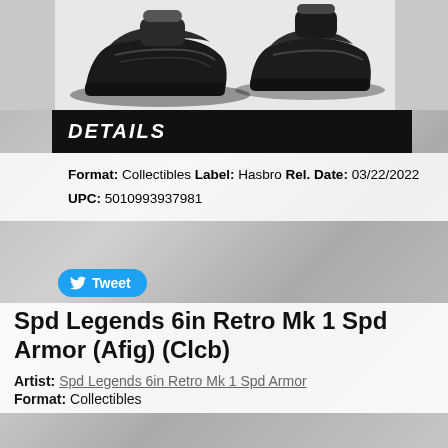[Figure (photo): Two black sneaker/shoe collectibles photographed against a light gray background, cropped to show the shoes from above/side angle.]
DETAILS
Format: Collectibles
Label: Hasbro
Rel. Date: 03/22/2022
UPC: 5010993937981
[Figure (other): Tweet button with Twitter bird icon]
Spd Legends 6in Retro Mk 1 Spd Armor (Afig) (Clcb)
Artist: Spd Legends 6in Retro Mk 1 Spd Armor
Format: Collectibles